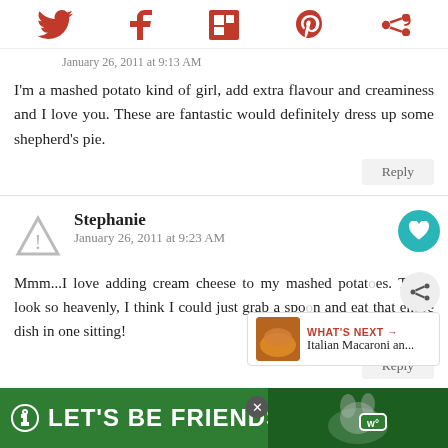Twitter, Facebook, Flipboard, Pinterest, share icons
January 26, 2011 at 9:13 AM
I'm a mashed potato kind of girl, add extra flavour and creaminess and I love you. These are fantastic would definitely dress up some shepherd's pie.
Reply
Stephanie
January 26, 2011 at 9:23 AM
Mmm...I love adding cream cheese to my mashed potatoes. These look so heavenly, I think I could just grab a spoon and eat that entire dish in one sitting!
WHAT'S NEXT → Italian Macaroni an...
Reply
LET'S BE FRIENDS